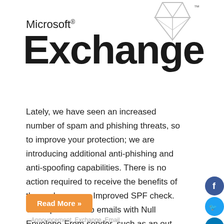[Figure (logo): Microsoft Exchange logo with diamond/crystal icon above and TM mark]
Lately, we have seen an increased number of spam and phishing threats, so to improve your protection; we are introducing additional anti-phishing and anti-spoofing capabilities. There is no action required to receive the benefits of these changes. – Improved SPF check. We expanded it to emails with Null Envelope-From sender, such as an out of...
Read More »
Announcement, Exchange, Email